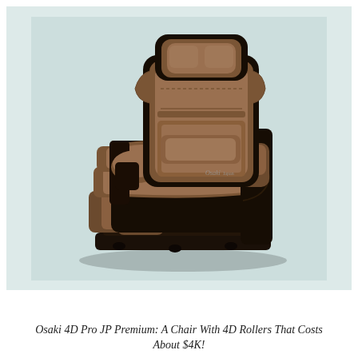[Figure (photo): A brown massage chair (Osaki 4D Pro JP Premium) photographed against a light teal/mint background. The chair features padded upholstery in brown/taupe leather-like material with black accents, extended leg/foot rest sections, padded armrests, and a tall headrest. The Osaki logo is visible on the side. The chair is shown in a reclined position with footrests extended.]
Osaki 4D Pro JP Premium: A Chair With 4D Rollers That Costs About $4K!